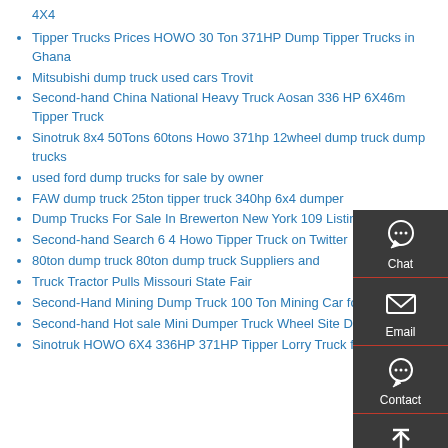4X4
Tipper Trucks Prices HOWO 30 Ton 371HP Dump Tipper Trucks in Ghana
Mitsubishi dump truck used cars Trovit
Second-hand China National Heavy Truck Aosan 336 HP 6X46m Tipper Truck
Sinotruk 8x4 50Tons 60tons Howo 371hp 12wheel dump truck dump trucks
used ford dump trucks for sale by owner
FAW dump truck 25ton tipper truck 340hp 6x4 dumper
Dump Trucks For Sale In Brewerton New York 109 Listings
Second-hand Search 6 4 Howo Tipper Truck on Twitter
80ton dump truck 80ton dump truck Suppliers and
Truck Tractor Pulls Missouri State Fair
Second-Hand Mining Dump Truck 100 Ton Mining Car for Sale
Second-hand Hot sale Mini Dumper Truck Wheel Site Dumper
Sinotruk HOWO 6X4 336HP 371HP Tipper Lorry Truck for Sale
[Figure (infographic): Floating sidebar widget with four buttons: Chat (headset icon), Email (envelope icon), Contact (speech bubble icon), Top (up arrow icon). Dark grey background with red dividers.]